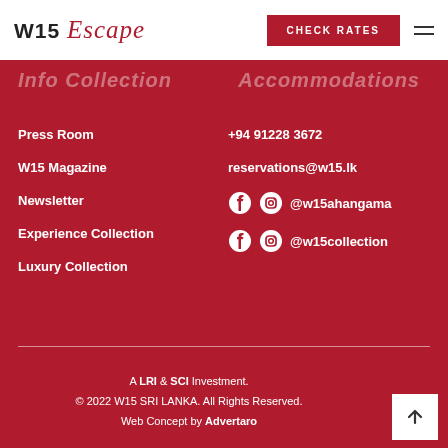W15 Escape | CHECK RATES
Info Collection | Accommodations
Press Room
W15 Magazine
Newsletter
Experience Collection
Luxury Collection
+94 91228 3672
reservations@w15.lk
@w15ahangama
@w15collection
A LRI & SCI Investment.
© 2022 W15 SRI LANKA. All Rights Reserved.
Web Concept by Advertaro